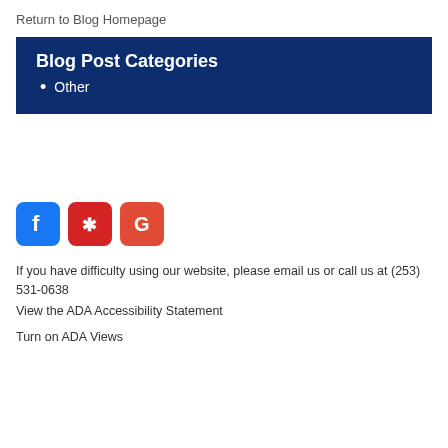Return to Blog Homepage
Blog Post Categories
Other
[Figure (logo): Social media icons: Facebook (blue), Yelp (red), Google (red-orange)]
If you have difficulty using our website, please email us or call us at (253) 531-0638
View the ADA Accessibility Statement
Turn on ADA Views